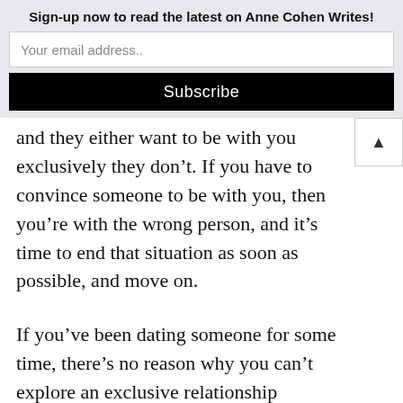Sign-up now to read the latest on Anne Cohen Writes!
and they either want to be with you exclusively they don't. If you have to convince someone to be with you, then you're with the wrong person, and it's time to end that situation as soon as possible, and move on.
If you've been dating someone for some time, there's no reason why you can't explore an exclusive relationship together in which you'll only date each other, as opposed to dating others as well. I don't believe that open relationships are healthy. If you want an open relationship, then you aren't